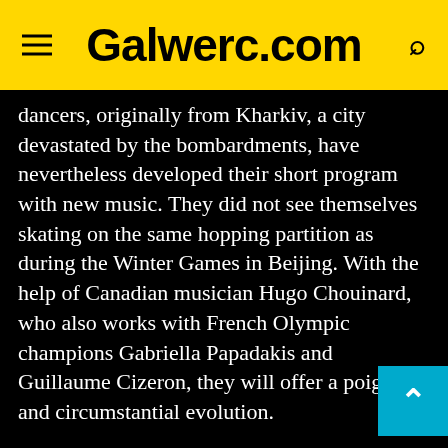Galwerc.com
dancers, originally from Kharkiv, a city devastated by the bombardments, have nevertheless developed their short program with new music. They did not see themselves skating on the same hopping partition as during the Winter Games in Beijing. With the help of Canadian musician Hugo Chouinard, who also works with French Olympic champions Gabriella Papadakis and Guillaume Cizeron, they will offer a poignant and circumstantial evolution.
These championships in Montpellier will in fact be very marked by the international context. The decision of the ISU (International Skating Union) to exclude Russians and Belarusians from competitions affects the world event much more...